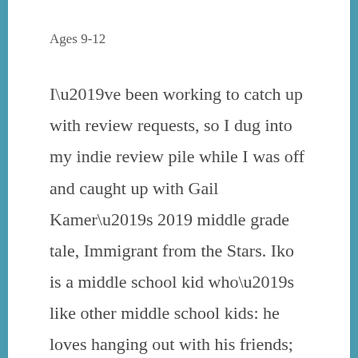Ages 9-12
I’ve been working to catch up with review requests, so I dug into my indie review pile while I was off and caught up with Gail Kamer’s 2019 middle grade tale, Immigrant from the Stars. Iko is a middle school kid who’s like other middle school kids: he loves hanging out with his friends; he loves